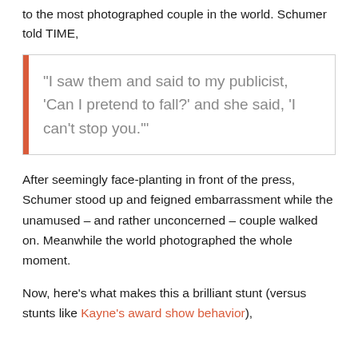to the most photographed couple in the world. Schumer told TIME,
“I saw them and said to my publicist, ‘Can I pretend to fall?’ and she said, ‘I can’t stop you.’”
After seemingly face-planting in front of the press, Schumer stood up and feigned embarrassment while the unamused – and rather unconcerned – couple walked on. Meanwhile the world photographed the whole moment.
Now, here’s what makes this a brilliant stunt (versus stunts like Kayne’s award show behavior),